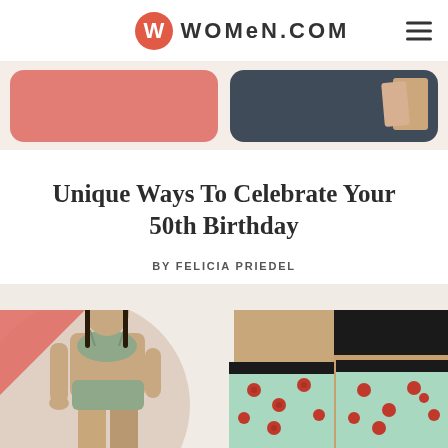WOMEN.COM
[Figure (photo): Top banner with two content cards on a light pink background — left card with coral/salmon color, right card with dark navy color and tan book/card imagery]
Unique Ways To Celebrate Your 50th Birthday
BY FELICIA PRIEDEL
[Figure (photo): Two photos side by side: left shows a woman in sage green bralette and underwear set against a circular background; right shows a couple wearing matching strawberry-print underwear/shorts — black bra top visible, strawberry print panties and boxers shown from back/side, against a circular beige background with coral triangle accent in top left corner]